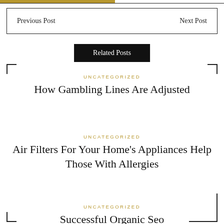Previous Post    Next Post
Related Posts
UNCATEGORIZED
How Gambling Lines Are Adjusted
UNCATEGORIZED
Air Filters For Your Home's Appliances Help Those With Allergies
UNCATEGORIZED
Successful Organic Seo